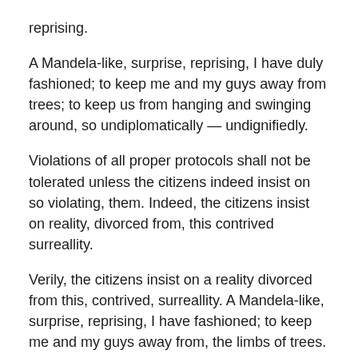reprising.
A Mandela-like, surprise, reprising, I have duly fashioned; to keep me and my guys away from trees; to keep us from hanging and swinging around, so undiplomatically — undignifiedly.
Violations of all proper protocols shall not be tolerated unless the citizens indeed insist on so violating, them. Indeed, the citizens insist on reality, divorced from, this contrived surreallity.
Verily, the citizens insist on a reality divorced from this, contrived, surreallity. A Mandela-like, surprise, reprising, I have fashioned; to keep me and my guys away from, the limbs of trees.